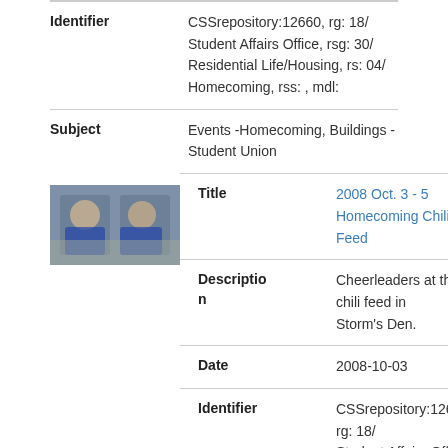| Field | Value |
| --- | --- |
| Identifier | CSSrepository:12660, rg: 18/ Student Affairs Office, rsg: 30/ Residential Life/Housing, rs: 04/ Homecoming, rss: , mdl: |
| Subject | Events -Homecoming, Buildings - Student Union |
[Figure (photo): Thumbnail photo of two cheerleaders at a table with food, wearing blue and white uniforms]
| Field | Value |
| --- | --- |
| Title | 2008 Oct. 3 - 5 Homecoming Chili Feed |
| Description | Cheerleaders at the chili feed in Storm's Den. |
| Date | 2008-10-03 |
| Identifier | CSSrepository:12632, rg: 18/ Student Affairs Office, rsg: 30/ Residential Life/Housing, rs: 04/ Homecoming, rss: , mdl: |